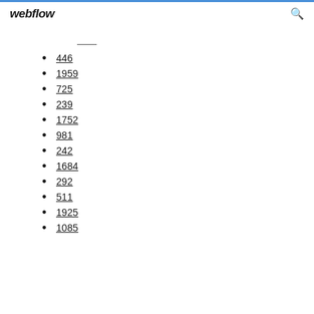webflow
446
1959
725
239
1752
981
242
1684
292
511
1925
1085